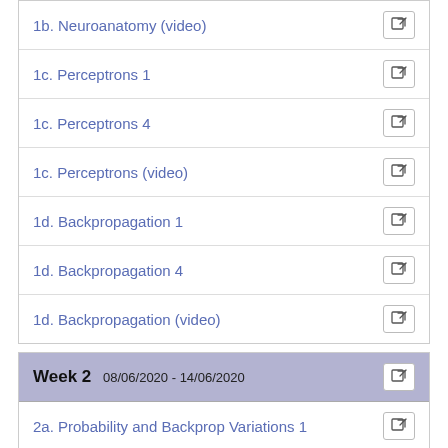1b. Neuroanatomy (video)
1c. Perceptrons 1
1c. Perceptrons 4
1c. Perceptrons (video)
1d. Backpropagation 1
1d. Backpropagation 4
1d. Backpropagation (video)
Week 2 08/06/2020 - 14/06/2020
2a. Probability and Backprop Variations 1
2a. Probability and Backprop Variations 4
2a. Probability and Variations (video)